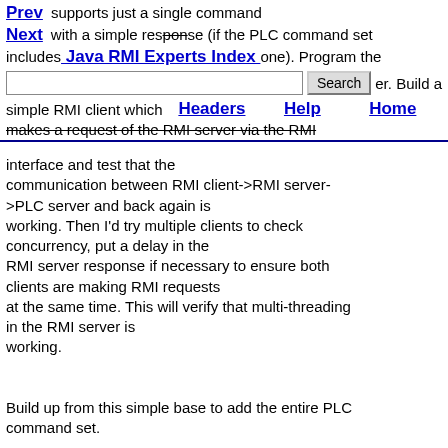Prev  Next  Java RMI Experts Index  supports just a single command with a simple response (if the PLC command set includes one). Program the  [Search]  er. Build a  simple RMI client which  Headers  Help  Home  makes a request of the RMI server via the RMI
interface and test that the communication between RMI client->RMI server->PLC server and back again is working. Then I'd try multiple clients to check concurrency, put a delay in the RMI server response if necessary to ensure both clients are making RMI requests at the same time. This will verify that multi-threading in the RMI server is working.

Build up from this simple base to add the entire PLC command set.

--
Nigel Wade, System Administrator, Space Plasma Physics Group,
          University of Leicester, Leicester, LE1 7RH, UK